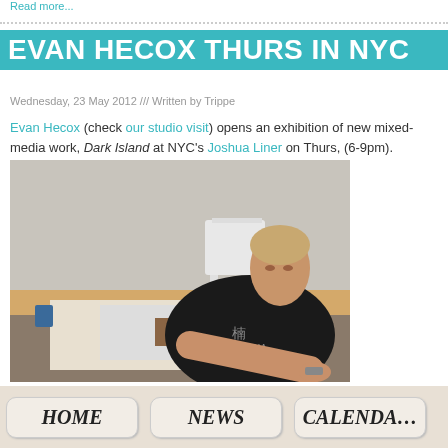Read more...
EVAN HECOX THURS IN NYC
Wednesday, 23 May 2012 /// Written by Trippe
Evan Hecox (check our studio visit) opens an exhibition of new mixed-media work, Dark Island at NYC's Joshua Liner on Thurs, (6-9pm).
[Figure (photo): Man in black t-shirt with Chinese characters leaning over a table working on mixed-media artwork in a studio setting]
HOME   NEWS   CALENDAR